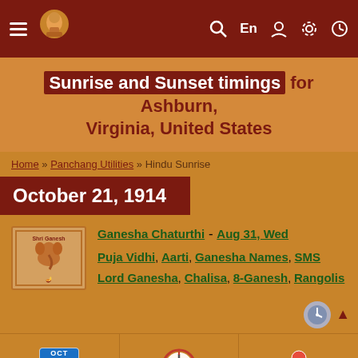Navigation bar with menu, logo, search, En, user, settings, clock icons
Sunrise and Sunset timings for Ashburn, Virginia, United States
Home » Panchang Utilities » Hindu Sunrise
October 21, 1914
Ganesha Chaturthi - Aug 31, Wed
Puja Vidhi, Aarti, Ganesha Names, SMS
Lord Ganesha, Chalisa, 8-Ganesh, Rangolis
Change Date | Show Seconds | Modern Theme